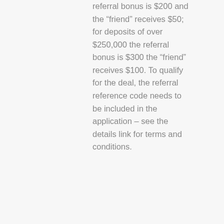referral bonus is $200 and the “friend” receives $50; for deposits of over $250,000 the referral bonus is $300 the “friend” receives $100. To qualify for the deal, the referral reference code needs to be included in the application – see the details link for terms and conditions.